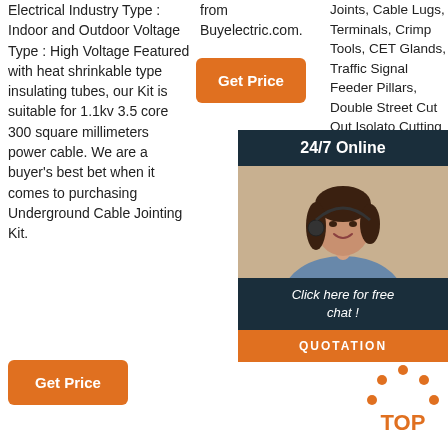Electrical Industry Type : Indoor and Outdoor Voltage Type : High Voltage Featured with heat shrinkable type insulating tubes, our Kit is suitable for 1.1kv 3.5 core 300 square millimeters power cable. We are a buyer's best bet when it comes to purchasing Underground Cable Jointing Kit.
[Figure (other): Orange 'Get Price' button in middle column]
from Buyelectric.com.
[Figure (other): Orange 'Get Price' button at bottom left]
Joints, Cable Lugs, Terminals, Crimp Tools, CET Glands, Traffic Signal Feeder Pillars, Double Street Cut Out Isolato Cutting Re-ent Resins Base S
[Figure (other): 24/7 Online chat overlay with woman wearing headset, 'Click here for free chat!' text, QUOTATION button]
[Figure (other): Orange 'Get Price' button in right column]
[Figure (other): TOP badge with orange dots at bottom right]